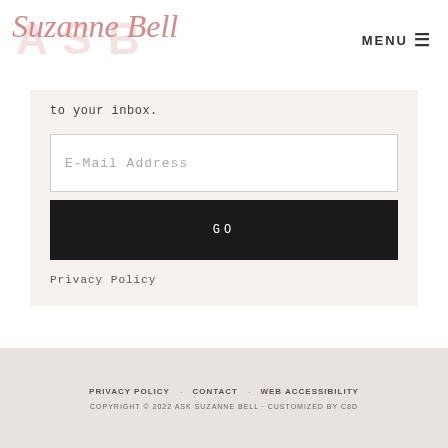Suzanne Bell | MENU
to your inbox.
E-Mail Address
GO
Privacy Policy
PRIVACY POLICY · CONTACT · WEB ACCESSIBILITY · COPYRIGHT © 2022 ASK SUZANNE BELL · CUSTOMIZED BY C8D